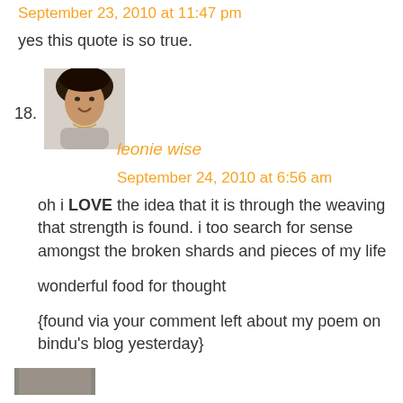September 23, 2010 at 11:47 pm
yes this quote is so true.
[Figure (photo): Avatar photo of commenter leonie wise — a woman smiling, wearing a necklace]
18.
leonie wise
September 24, 2010 at 6:56 am
oh i LOVE the idea that it is through the weaving that strength is found. i too search for sense amongst the broken shards and pieces of my life

wonderful food for thought

{found via your comment left about my poem on bindu’s blog yesterday}
[Figure (photo): Partial avatar photo visible at bottom of page]